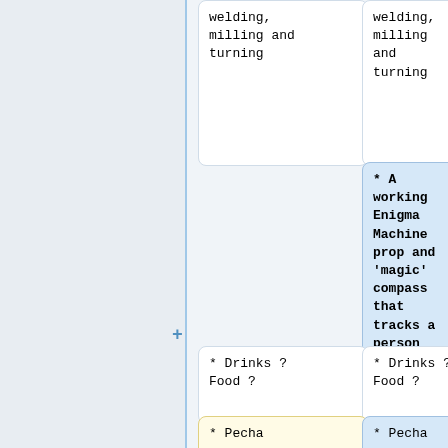welding, milling and turning
welding, milling and turning
* A working Enigma Machine prop and 'magic' compass that tracks a person rather than pointing North. Part of Nick's talk on tech in LARP.
* Drinks ? Food ?
* Drinks ? Food ?
* Pecha
* Pecha